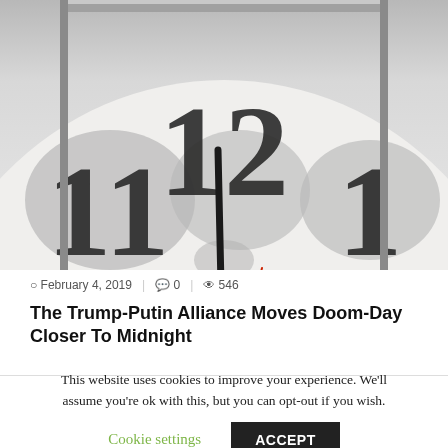[Figure (photo): Close-up photograph of a clock face showing numbers 11, 12, and 1, with gray decorative patterns on the white clock face and dark hands near the 12]
February 4, 2019  |  0  |  546
The Trump-Putin Alliance Moves Doom-Day Closer To Midnight
This website uses cookies to improve your experience. We'll assume you're ok with this, but you can opt-out if you wish.
Cookie settings  ACCEPT